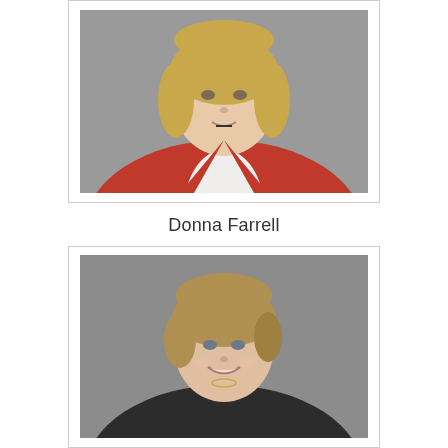[Figure (photo): Professional headshot of Donna Farrell, a woman with blonde shoulder-length hair wearing a red/orange blazer over a white top, with a small necklace, photographed against a grey background.]
Donna Farrell
[Figure (photo): Professional headshot of a woman with short blonde hair, smiling, wearing a dark blazer with a necklace, photographed against a grey background.]